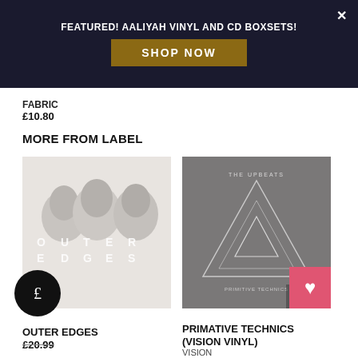FEATURED! AALIYAH VINYL AND CD BOXSETS!
SHOP NOW
FABRIC
£10.80
MORE FROM LABEL
[Figure (photo): Album cover for Outer Edges - light grey cover with three faces and text OUTER EDGES]
OUTER EDGES
£20.99
[Figure (photo): Album cover for Primative Technics Vision Vinyl - dark grey cover with The Upbeats text and triangle geometric design]
PRIMATIVE TECHNICS (VISION VINYL)
VISION
£15.00